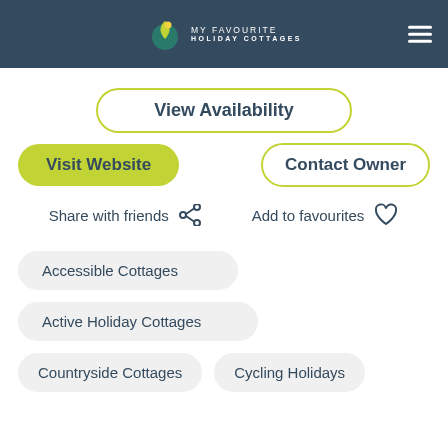[Figure (logo): My Favourite Holiday Cottages logo with icon on dark blue header bar with hamburger menu]
View Availability
Visit Website
Contact Owner
Share with friends
Add to favourites
Accessible Cottages
Active Holiday Cottages
Countryside Cottages
Cycling Holidays